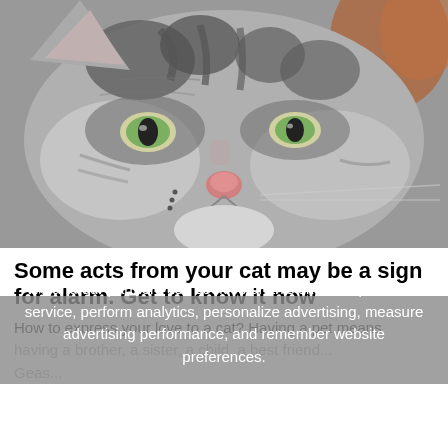[Figure (photo): Close-up photograph of a grumpy-looking grey tabby cat with green eyes, facing the camera, filling the top portion of the page.]
Some acts from your cat may be a sign for alarm. Get to know it now
How to express your love to a cat? Having a pet means having a brother, a sister, a child, a best friend...
Geas...
We and our partners use cookies on this site to improve our service, perform analytics, personalize advertising, measure advertising performance, and remember website preferences.
Ok